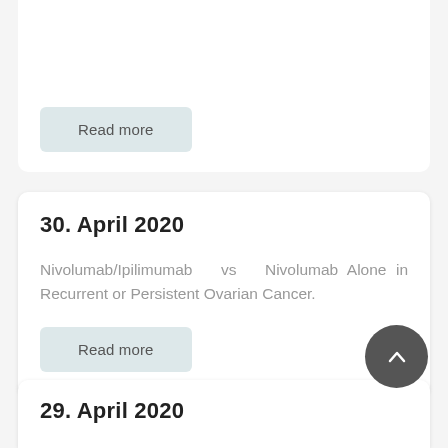Read more
30. April 2020
Nivolumab/Ipilimumab vs Nivolumab Alone in Recurrent or Persistent Ovarian Cancer.
Read more
29. April 2020